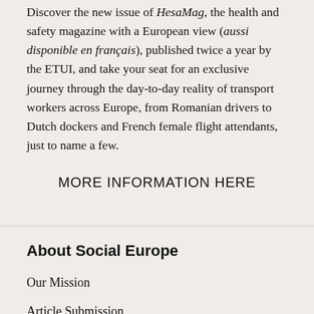Discover the new issue of HesaMag, the health and safety magazine with a European view (aussi disponible en français), published twice a year by the ETUI, and take your seat for an exclusive journey through the day-to-day reality of transport workers across Europe, from Romanian drivers to Dutch dockers and French female flight attendants, just to name a few.
MORE INFORMATION HERE
About Social Europe
Our Mission
Article Submission